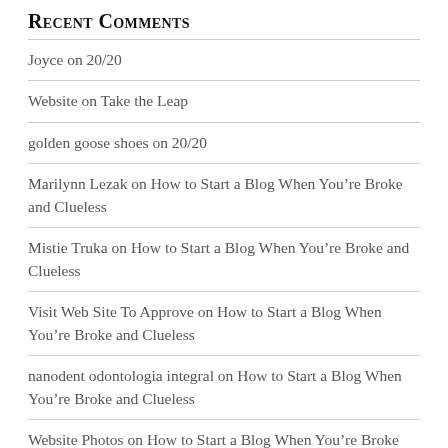Recent Comments
Joyce on 20/20
Website on Take the Leap
golden goose shoes on 20/20
Marilynn Lezak on How to Start a Blog When You're Broke and Clueless
Mistie Truka on How to Start a Blog When You're Broke and Clueless
Visit Web Site To Approve on How to Start a Blog When You're Broke and Clueless
nanodent odontologia integral on How to Start a Blog When You're Broke and Clueless
Website Photos on How to Start a Blog When You're Broke and Clueless